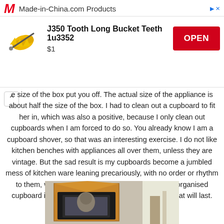[Figure (screenshot): Advertisement banner for Made-in-China.com showing J350 Tooth Long Bucket Teeth 1u3352 product for $1 with OPEN button]
e size of the box put you off. The actual size of the appliance is about half the size of the box. I had to clean out a cupboard to fit her in, which was also a positive, because I only clean out cupboards when I am forced to do so. You already know I am a cupboard shover, so that was an interesting exercise. I do not like kitchen benches with appliances all over them, unless they are vintage. But the sad result is my cupboards become a jumbled mess of kitchen ware leaning precariously, with no order or rhythm to them, what so ever. So at least I now have one organised cupboard in which Jamie lives. I wonder how long that will last.
[Figure (photo): Photo showing an open cardboard box with a large appliance inside, in a kitchen or room setting]